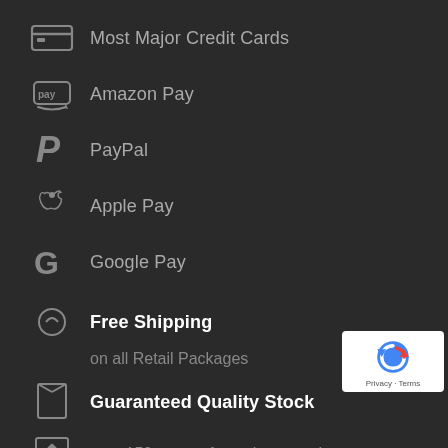Most Major Credit Cards
Amazon Pay
PayPal
Apple Pay
Google Pay
Free Shipping
on all Retail Packages
Guaranteed Quality Stock
over 150 years of growing experience
24/7 Plant Care Support
[Figure (logo): Google reCAPTCHA badge with Privacy and Terms links]